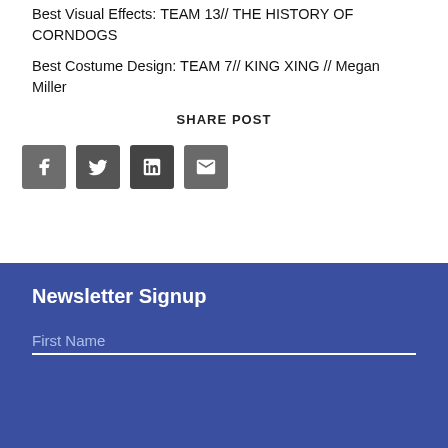Best Visual Effects: TEAM 13// THE HISTORY OF CORNDOGS
Best Costume Design: TEAM 7// KING XING // Megan Miller
SHARE POST
[Figure (infographic): Four social media sharing buttons: Facebook (grey), Twitter (dark grey), LinkedIn (dark grey), Email (grey)]
Newsletter Signup
First Name